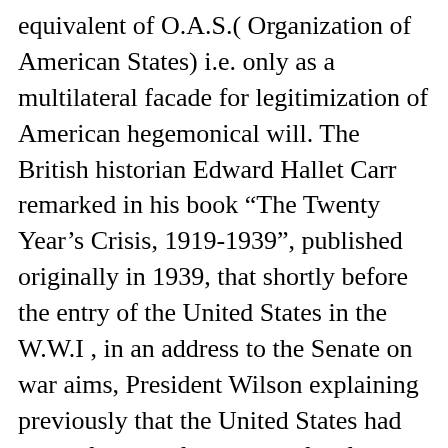equivalent of O.A.S.( Organization of American States) i.e. only as a multilateral facade for legitimization of American hegemonical will. The British historian Edward Hallet Carr remarked in his book “The Twenty Year’s Crisis, 1919-1939”, published originally in 1939, that shortly before the entry of the United States in the W.W.I , in an address to the Senate on war aims, President Wilson explaining previously that the United States had been “founded for the benefit of humanity”(16) (sic!), stated categorically: “Those are American principles, American policies…They are the principles of